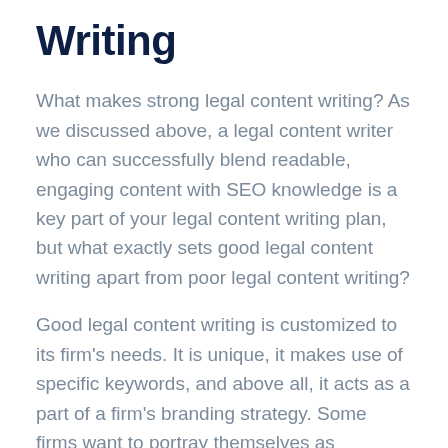Writing
What makes strong legal content writing? As we discussed above, a legal content writer who can successfully blend readable, engaging content with SEO knowledge is a key part of your legal content writing plan, but what exactly sets good legal content writing apart from poor legal content writing?
Good legal content writing is customized to its firm's needs. It is unique, it makes use of specific keywords, and above all, it acts as a part of a firm's branding strategy. Some firms want to portray themselves as aggressive